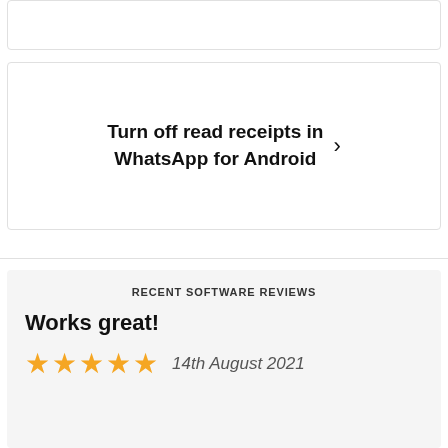Turn off read receipts in WhatsApp for Android
RECENT SOFTWARE REVIEWS
Works great!
★★★★★  14th August 2021